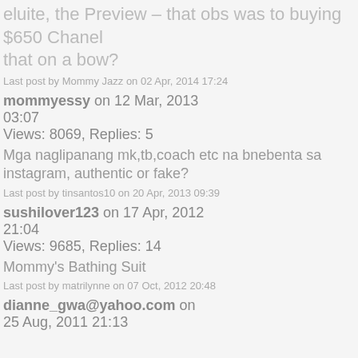…eluite, the Preview – that obs was to buying $650 Chanel that on a bow?
Last post by Mommy Jazz on 02 Apr, 2014 17:24
mommyessy on 12 Mar, 2013
03:07
Views: 8069, Replies: 5
Mga naglipanang mk,tb,coach etc na bnebenta sa instagram, authentic or fake?
Last post by tinsantos10 on 20 Apr, 2013 09:39
sushilover123 on 17 Apr, 2012
21:04
Views: 9685, Replies: 14
Mommy's Bathing Suit
Last post by matrilynne on 07 Oct, 2012 20:48
dianne_gwa@yahoo.com on
25 Aug, 2011 21:13